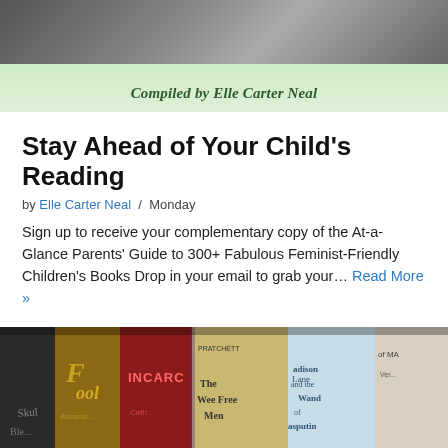[Figure (photo): Banner with a photo at the top and green gradient background reading 'Compiled by Elle Carter Neal']
Stay Ahead of Your Child's Reading
by Elle Carter Neal / Monday
Sign up to receive your complementary copy of the At-a-Glance Parents' Guide to 300+ Fabulous Feminist-Friendly Children's Books Drop in your email to grab your… Read More »
[Figure (photo): Photo of several book spines including 'Fool Assassin', 'Incarceron', 'The Wee Free Men' by Pratchett, 'Madison and the Wand of Rasputin', and others]